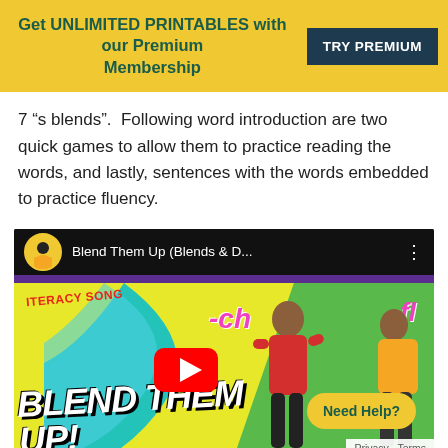Get UNLIMITED PRINTABLES with our Premium Membership  TRY PREMIUM
7 “s blends”.  Following word introduction are two quick games to allow them to practice reading the words, and lastly, sentences with the words embedded to practice fluency.
[Figure (screenshot): YouTube video thumbnail for 'Blend Them Up (Blends & D...' showing a literacy song video with colorful text BLEND THEM UP!, -ch and -fl text, and people dancing on yellow/green background with YouTube play button.]